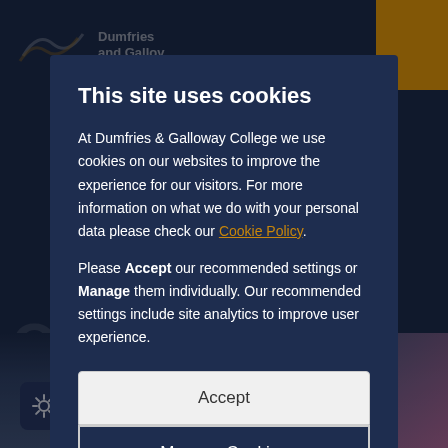[Figure (screenshot): Dumfries and Galloway College website screenshot showing cookie consent modal dialog overlay on top of a dark blue college website with orange accent, watermark text 'Qualifications' and 'Experience', and a partial photo of a student at the bottom.]
This site uses cookies
At Dumfries & Galloway College we use cookies on our websites to improve the experience for our visitors. For more information on what we do with your personal data please check our Cookie Policy.
Please Accept our recommended settings or Manage them individually. Our recommended settings include site analytics to improve user experience.
Accept
Manage Cookies